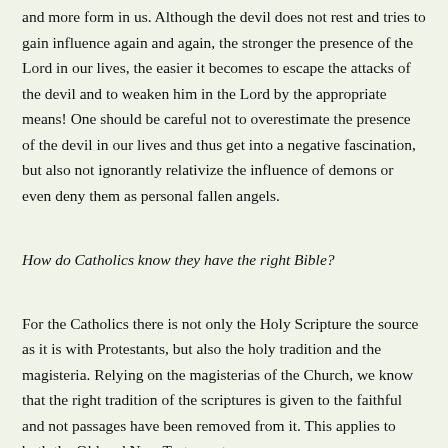and more form in us. Although the devil does not rest and tries to gain influence again and again, the stronger the presence of the Lord in our lives, the easier it becomes to escape the attacks of the devil and to weaken him in the Lord by the appropriate means! One should be careful not to overestimate the presence of the devil in our lives and thus get into a negative fascination, but also not ignorantly relativize the influence of demons or even deny them as personal fallen angels.
How do Catholics know they have the right Bible?
For the Catholics there is not only the Holy Scripture the source as it is with Protestants, but also the holy tradition and the magisteria. Relying on the magisterias of the Church, we know that the right tradition of the scriptures is given to the faithful and not passages have been removed from it. This applies to both the Old and New Testaments.